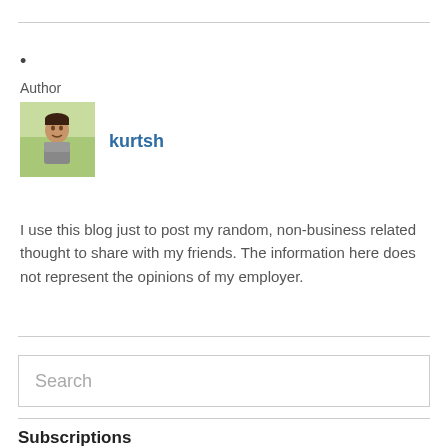•
Author
[Figure (photo): Author avatar photo of kurtsh, a person shown outdoors]
kurtsh
I use this blog just to post my random, non-business related thought to share with my friends. The information here does not represent the opinions of my employer.
Search
Subscriptions